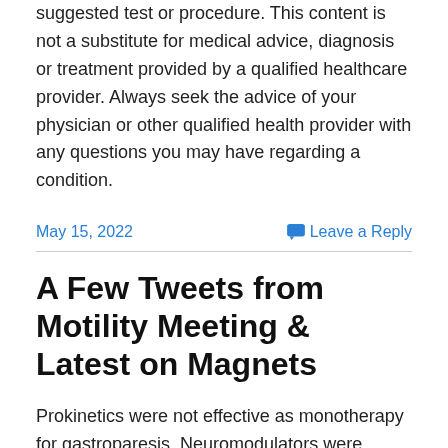suggested test or procedure. This content is not a substitute for medical advice, diagnosis or treatment provided by a qualified healthcare provider. Always seek the advice of your physician or other qualified health provider with any questions you may have regarding a condition.
May 15, 2022
Leave a Reply
A Few Tweets from Motility Meeting & Latest on Magnets
Prokinetics were not effective as monotherapy for gastroparesis. Neuromodulators were effective with and without a prokinetic: